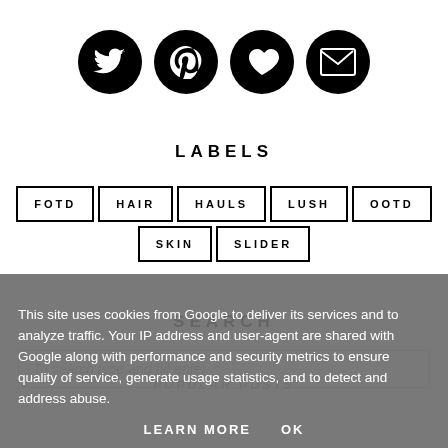[Figure (illustration): Four black circular social media icons: Twitter bird, Pinterest P, heart/love, envelope/email]
LABELS
FOTD
HAIR
HAULS
LUSH
OOTD
SKIN
SLIDER
SEARCH
To search type and hit enter.
This site uses cookies from Google to deliver its services and to analyze traffic. Your IP address and user-agent are shared with Google along with performance and security metrics to ensure quality of service, generate usage statistics, and to detect and address abuse.
POPULAR POSTS
LEARN MORE   OK